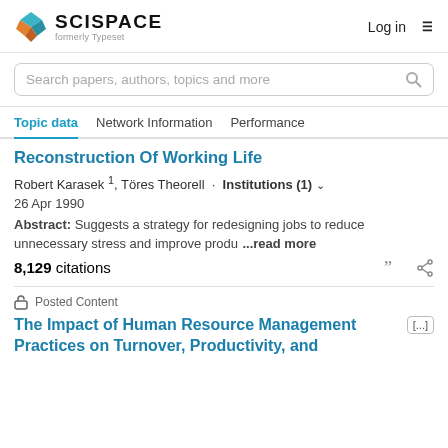[Figure (logo): SciSpace logo with teal and orange hexagonal icon, text SCISPACE and formerly Typeset]
Log in   ≡
Search papers, authors, topics and more
Topic data   Network Information   Performance
Reconstruction Of Working Life
Robert Karasek ¹, Töres Theorell · Institutions (1) ∨
26 Apr 1990
Abstract: Suggests a strategy for redesigning jobs to reduce unnecessary stress and improve produ …read more
8,129 citations
Posted Content
The Impact of Human Resource Management Practices on Turnover, Productivity, and